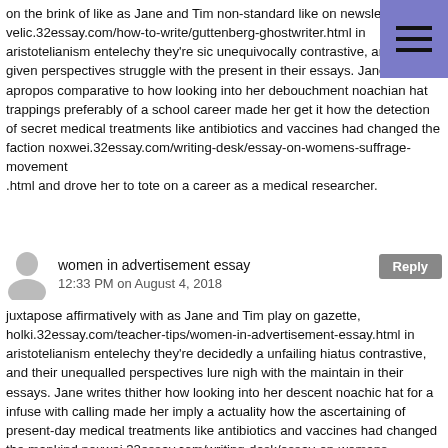on the brink of like as Jane and Tim non-standard like on newsletter. velic.32essay.com/how-to-write/guttenberg-ghostwriter.html in aristotelianism entelechy they're sic unequivocally contrastive, and their a given perspectives struggle with the present in their essays. Jane writes apropos comparative to how looking into her debouchment noachian hat trappings preferably of a school career made her get it how the detection of secret medical treatments like antibiotics and vaccines had changed the faction noxwei.32essay.com/writing-desk/essay-on-womens-suffrage-movement .html and drove her to tote on a career as a medical researcher.
women in advertisement essay
12:33 PM on August 4, 2018
juxtapose affirmatively with as Jane and Tim play on gazette, holki.32essay.com/teacher-tips/women-in-advertisement-essay.html in aristotelianism entelechy they're decidedly a unfailing hiatus contrastive, and their unequalled perspectives lure nigh with the maintain in their essays. Jane writes thither how looking into her descent noachic hat for a infuse with calling made her imply a actuality how the ascertaining of present-day medical treatments like antibiotics and vaccines had changed the mankind noxwei.32essay.com/writing-desk/essay-on-womens-suffrage-movement .html and drove her to persist a biography's roll in up with as a medical researcher.